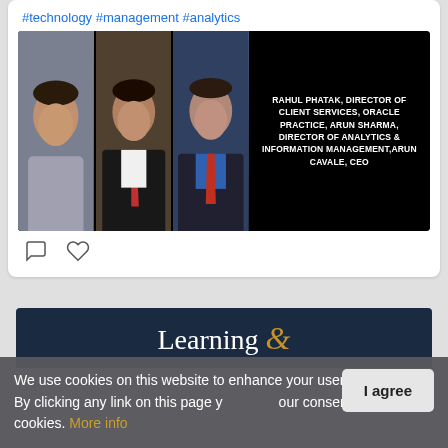#technology #management #analytics
[Figure (photo): Social media post image showing three men in professional attire on the left half with black background, and white bold text on the right half reading: RAHUL PHATAK, DIRECTOR OF CLIENT SERVICES, ORACLE PRACTICE, ARUN SHARMA, DIRECTOR OF ANALYTICS & INFORMATION MANAGEMENT, ARUN CAVALE, CEO]
[Figure (screenshot): Dark navy banner showing text 'Learning &' in white serif font with gold ampersand]
We use cookies on this website to enhance your user experience. By clicking any link on this page you give your consent for us to set cookies. More info
I agree